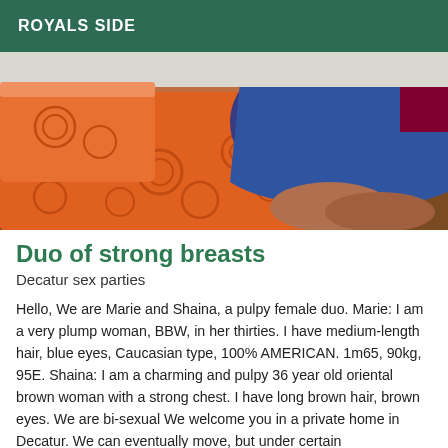ROYALS SIDE
[Figure (photo): A woman in a blue satin dress lying on an orange patterned bedspread/sofa]
Duo of strong breasts
Decatur sex parties
Hello, We are Marie and Shaina, a pulpy female duo. Marie: I am a very plump woman, BBW, in her thirties. I have medium-length hair, blue eyes, Caucasian type, 100% AMERICAN. 1m65, 90kg, 95E. Shaina: I am a charming and pulpy 36 year old oriental brown woman with a strong chest. I have long brown hair, brown eyes. We are bi-sexual We welcome you in a private home in Decatur. We can eventually move, but under certain